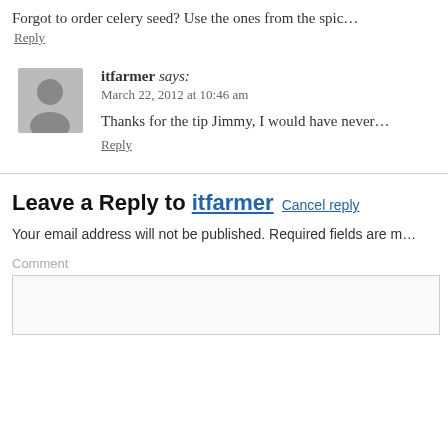Forgot to order celery seed? Use the ones from the spic…
Reply
itfarmer says:
March 22, 2012 at 10:46 am
Thanks for the tip Jimmy, I would have never…
Reply
Leave a Reply to itfarmer Cancel reply
Your email address will not be published. Required fields are m…
Comment